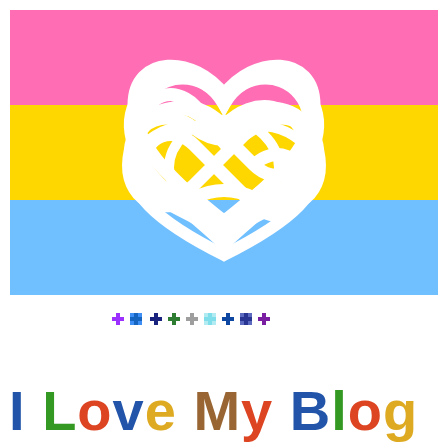[Figure (illustration): Pansexual pride flag with three horizontal stripes (pink, yellow, blue) and a white infinity heart symbol (polyamory symbol) overlaid in the center.]
[Figure (illustration): Row of small pixel-art cross/plus decorations in various colors: purple, blue, dark blue, green, light blue, dark blue, navy, purple.]
I Love My Blog